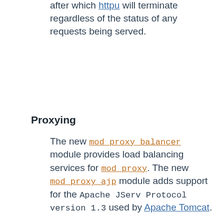after which httpu will terminate regardless of the status of any requests being served.
Proxying
The new mod_proxy_balancer module provides load balancing services for mod_proxy. The new mod_proxy_ajp module adds support for the Apache JServ Protocol version 1.3 used by Apache Tomcat.
Regular Expression Library Updated